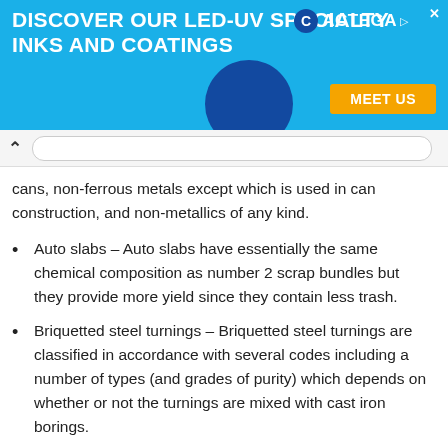[Figure (other): Advertisement banner for Actega LED-UV specialty inks and coatings with 'Meet Us' button]
cans, non-ferrous metals except which is used in can construction, and non-metallics of any kind.
Auto slabs – Auto slabs have essentially the same chemical composition as number 2 scrap bundles but they provide more yield since they contain less trash.
Briquetted steel turnings – Briquetted steel turnings are classified in accordance with several codes including a number of types (and grades of purity) which depends on whether or not the turnings are mixed with cast iron borings.
Steelmaking slag scrap – Steelmaking slag scrap is normally considered to be a low grade melting material